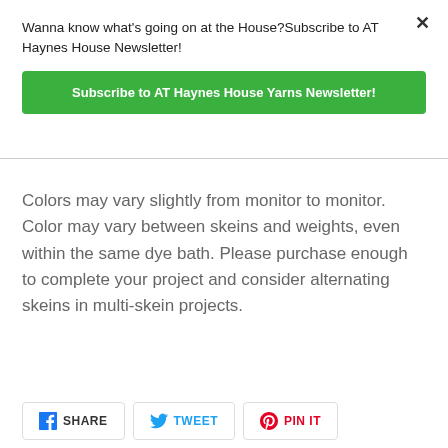Wanna know what's going on at the House?Subscribe to AT Haynes House Newsletter!
Subscribe to AT Haynes House Yarns Newsletter!
Colors may vary slightly from monitor to monitor. Color may vary between skeins and weights, even within the same dye bath. Please purchase enough to complete your project and consider alternating skeins in multi-skein projects.
SHARE
TWEET
PIN IT